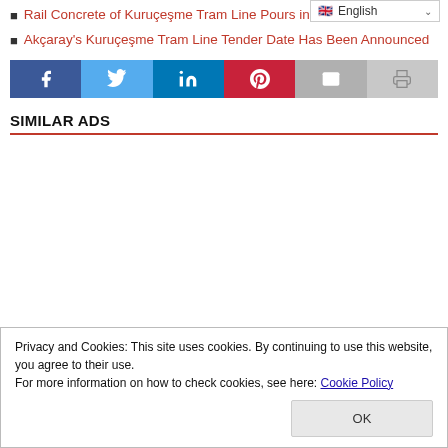Rail Concrete of Kuruçeşme Tram Line Pours in Kocaeli
Akçaray's Kuruçeşme Tram Line Tender Date Has Been Announced
[Figure (infographic): Social media share bar with Facebook, Twitter, LinkedIn, Pinterest, Email, and Print buttons]
SIMILAR ADS
Privacy and Cookies: This site uses cookies. By continuing to use this website, you agree to their use. For more information on how to check cookies, see here: Cookie Policy